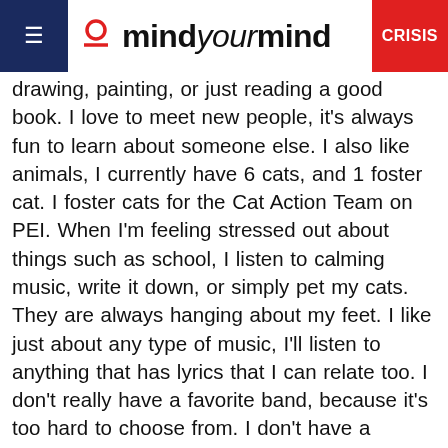mindyourmind CRISIS
drawing, painting, or just reading a good book. I love to meet new people, it's always fun to learn about someone else. I also like animals, I currently have 6 cats, and 1 foster cat. I foster cats for the Cat Action Team on PEI. When I'm feeling stressed out about things such as school, I listen to calming music, write it down, or simply pet my cats. They are always hanging about my feet. I like just about any type of music, I'll listen to anything that has lyrics that I can relate too. I don't really have a favorite band, because it's too hard to choose from. I don't have a favorite movie either, but if I had to choose it'd have to be 12 and Holding, because it's about the hard choices a child has to make when their parents won't help.